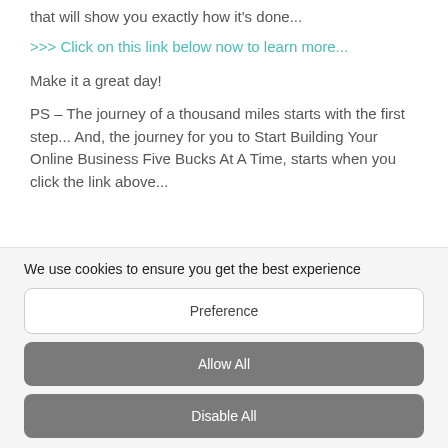that will show you exactly how it's done...
>>> Click on this link below now to learn more...
Make it a great day!
PS – The journey of a thousand miles starts with the first step... And, the journey for you to Start Building Your Online Business Five Bucks At A Time, starts when you click the link above...
We use cookies to ensure you get the best experience
Preference
Allow All
Disable All